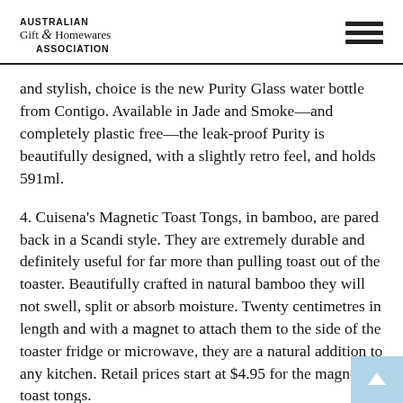AUSTRALIAN Gift & Homewares ASSOCIATION
and stylish, choice is the new Purity Glass water bottle from Contigo. Available in Jade and Smoke—and completely plastic free—the leak-proof Purity is beautifully designed, with a slightly retro feel, and holds 591ml.
4. Cuisena's Magnetic Toast Tongs, in bamboo, are pared back in a Scandi style. They are extremely durable and definitely useful for far more than pulling toast out of the toaster. Beautifully crafted in natural bamboo they will not swell, split or absorb moisture. Twenty centimetres in length and with a magnet to attach them to the side of the toaster fridge or microwave, they are a natural addition to any kitchen. Retail prices start at $4.95 for the magnetic toast tongs.